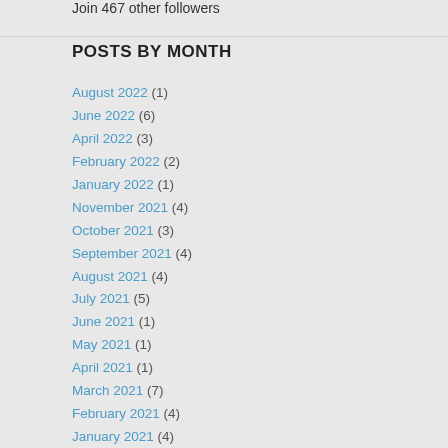Join 467 other followers
POSTS BY MONTH
August 2022 (1)
June 2022 (6)
April 2022 (3)
February 2022 (2)
January 2022 (1)
November 2021 (4)
October 2021 (3)
September 2021 (4)
August 2021 (4)
July 2021 (5)
June 2021 (1)
May 2021 (1)
April 2021 (1)
March 2021 (7)
February 2021 (4)
January 2021 (4)
December 2020 (7)